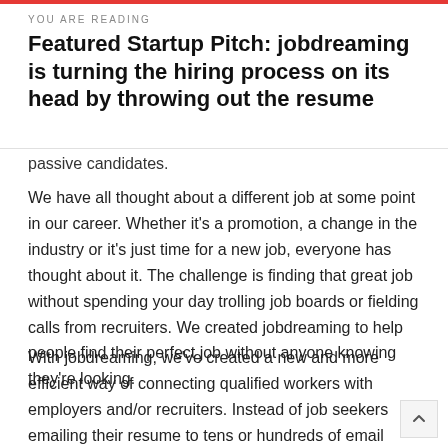YOU ARE READING
Featured Startup Pitch: jobdreaming is turning the hiring process on its head by throwing out the resume
passive candidates.
We have all thought about a different job at some point in our career. Whether it’s a promotion, a change in the industry or it’s just time for a new job, everyone has thought about it. The challenge is finding that great job without spending your day trolling job boards or fielding calls from recruiters. We created jobdreaming to help people find their perfect job without anyone knowing they’re looking.
With jobdreaming, we’ve created a new and more efficient way of connecting qualified workers with employers and/or recruiters. Instead of job seekers emailing their resume to tens or hundreds of email addresses, or wasting their time filling out detailed online applications, we decided to reinvent the hiring process by significantly reducing the time it takes to see if there’s a match. For